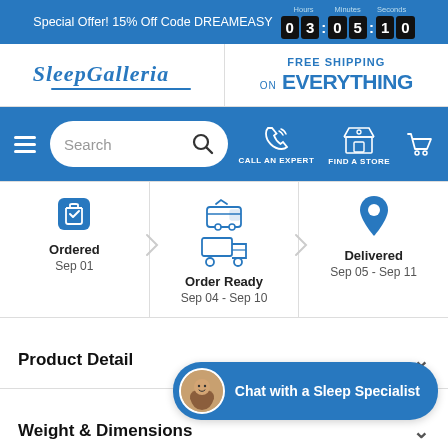Special Offer! 15% Off Code DREAMEASY  03:05:10
[Figure (logo): SleepGalleria logo with blue italic serif text and underline]
FREE SHIPPING on EVERYTHING
[Figure (screenshot): Navigation bar with hamburger menu, search box, call an expert phone icon, find a store icon, and cart icon]
[Figure (infographic): Order tracking steps: Ordered Sep 01, Order Ready Sep 04 - Sep 10, Delivered Sep 05 - Sep 11]
Product Detail
Weight & Dimensions
Specifications
Chat with a Sleep Specialist